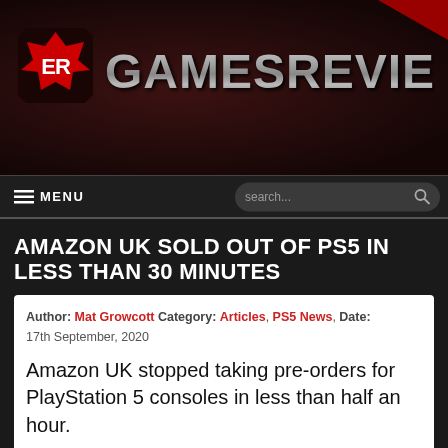[Figure (logo): GamesReviews website header with red and white ER logo icon on dark brownish-red background, with GAMESREVIEWS text in metallic grey/silver gradient font]
≡ MENU  search...
AMAZON UK SOLD OUT OF PS5 IN LESS THAN 30 MINUTES
Author: Mat Growcott Category: Articles, PS5 News, Date: 17th September, 2020
Amazon UK stopped taking pre-orders for PlayStation 5 consoles in less than half an hour.
[Figure (photo): White PS5 consoles (disc edition and digital edition) shown side by side against light grey/white background, partially cropped at bottom of page]